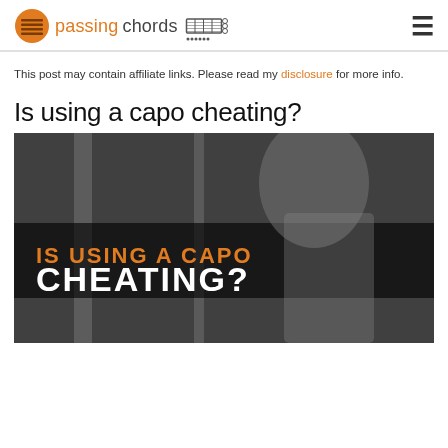passing chords
This post may contain affiliate links. Please read my disclosure for more info.
Is using a capo cheating?
[Figure (photo): Black and white photo of a person playing acoustic guitar with a capo, overlaid with text 'IS USING A CAPO CHEATING?' in orange and white bold lettering]